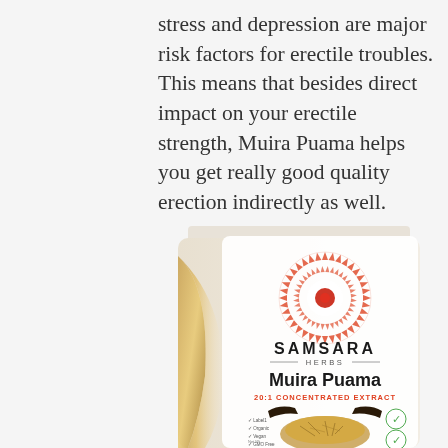stress and depression are major risk factors for erectile troubles. This means that besides direct impact on your erectile strength, Muira Puama helps you get really good quality erection indirectly as well.
[Figure (photo): Product photo of Samsara Herbs Muira Puama 20:1 Concentrated Extract supplement pouch/bag. White bag with gold gradient design, circular mandala-style logo in orange/red, brand name SAMSARA HERBS, product name Muira Puama in bold, subtitle 20:1 CONCENTRATED EXTRACT in orange, and image of herb powder with green checkmark badges.]